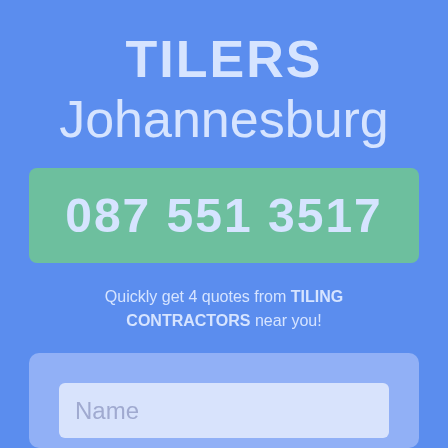TILERS Johannesburg
087 551 3517
Quickly get 4 quotes from TILING CONTRACTORS near you!
[Figure (other): Contact form with a Name input field placeholder on a light blue card background]